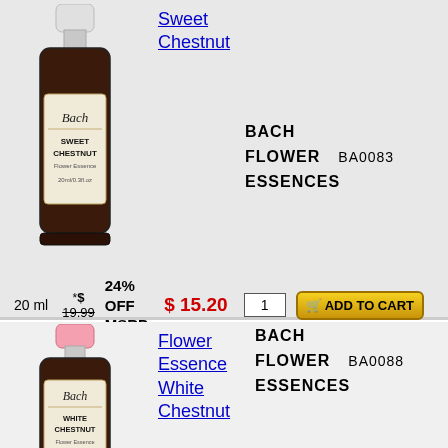[Figure (photo): Bach Flower Essences Sweet Chestnut bottle, small dark glass bottle with white cap and cream label]
Sweet Chestnut
BACH FLOWER ESSENCES   BA0083
20 ml   *$ 19.99   24% OFF MSRP   $ 15.20   1   ADD TO CART
[Figure (photo): Bach Flower Essences White Chestnut bottle, small dark glass bottle with pink cap and cream label]
Flower Essence White Chestnut
BACH FLOWER ESSENCES   BA0088